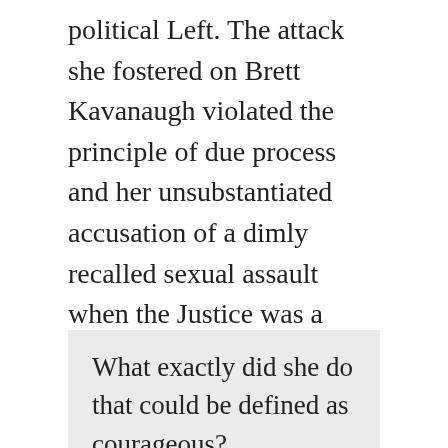political Left. The attack she fostered on Brett Kavanaugh violated the principle of due process and her unsubstantiated accusation of a dimly recalled sexual assault when the Justice was a teenager is the kind of abuse of justice that the ACLU once opposed. Writes an outraged Nina Bookout on Victory Girls,
What exactly did she do that could be defined as courageous?